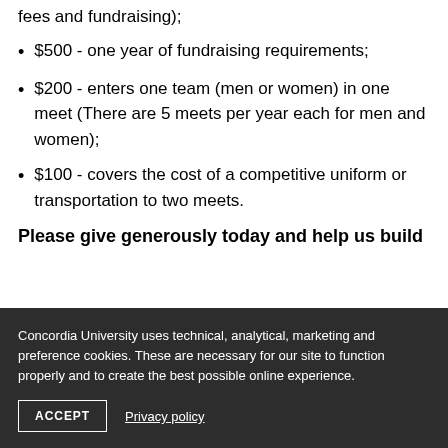fees and fundraising);
$500 - one year of fundraising requirements;
$200 - enters one team (men or women) in one meet (There are 5 meets per year each for men and women);
$100 - covers the cost of a competitive uniform or transportation to two meets.
Please give generously today and help us build
Concordia University uses technical, analytical, marketing and preference cookies. These are necessary for our site to function properly and to create the best possible online experience.
ACCEPT
Privacy policy